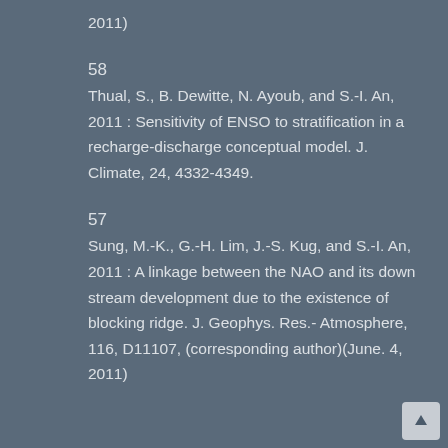2011)
58
Thual, S., B. Dewitte, N. Ayoub, and S.-I. An, 2011 : Sensitivity of ENSO to stratification in a recharge-discharge conceptual model. J. Climate, 24, 4332-4349.
57
Sung, M.-K., G.-H. Lim, J.-S. Kug, and S.-I. An, 2011 : A linkage between the NAO and its down stream development due to the existence of blocking ridge. J. Geophys. Res.- Atmosphere, 116, D11107, (corresponding author)(June. 4, 2011)